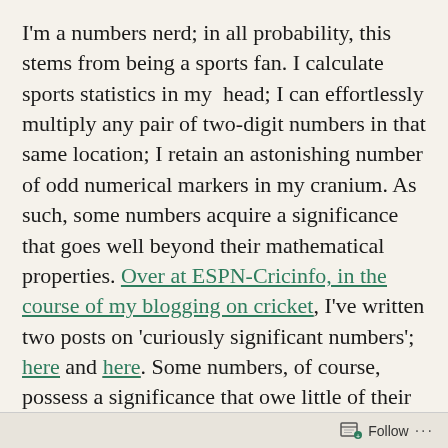I'm a numbers nerd; in all probability, this stems from being a sports fan. I calculate sports statistics in my head; I can effortlessly multiply any pair of two-digit numbers in that same location; I retain an astonishing number of odd numerical markers in my cranium. As such, some numbers acquire a significance that goes well beyond their mathematical properties. Over at ESPN-Cricinfo, in the course of my blogging on cricket, I've written two posts on 'curiously significant numbers'; here and here. Some numbers, of course, possess a significance that owe little of their provenance to sporting connections. One such number is 7000
Follow ...